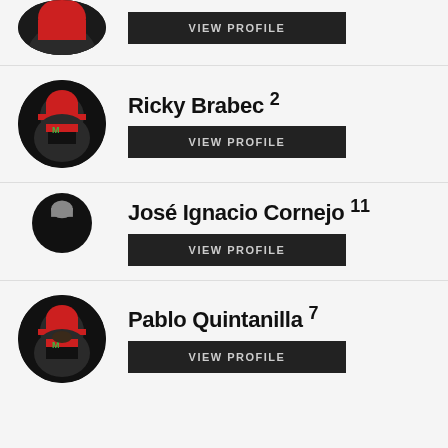[Figure (photo): Partial top rider profile row with dark circular avatar and VIEW PROFILE button]
VIEW PROFILE
[Figure (photo): Ricky Brabec circular avatar photo in red/black HRC gear]
Ricky Brabec 2
VIEW PROFILE
[Figure (photo): José Ignacio Cornejo partial circular avatar, only top visible]
José Ignacio Cornejo 11
VIEW PROFILE
[Figure (photo): Pablo Quintanilla circular avatar photo in red/black Monster Energy Honda gear]
Pablo Quintanilla 7
VIEW PROFILE